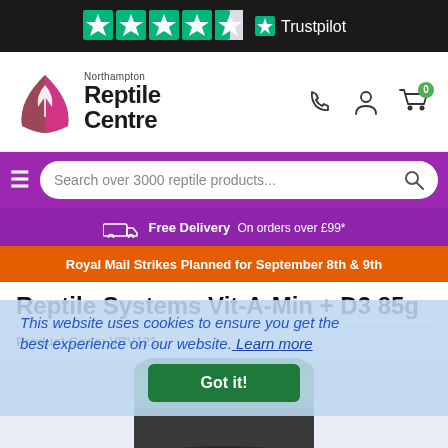Trustpilot 4.5 stars
[Figure (logo): Northampton Reptile Centre logo with pink/green shield and white leaf, and text 'Northampton Reptile Centre']
Search over 3000 reptile products...
Free Delivery  On orders over £99*
Royal Mail Strikes Planned for September 8th & 9th
Reptile Systems Vit-A-Min + D3 85g
Product Code: VRV121
This website uses cookies to ensure you get the best experience on our website. Got it!
[Figure (photo): Green-lidded cylindrical container (Reptile Systems Vit-A-Min + D3 85g product) photographed from above at slight angle, showing green cap with darker green label panel]